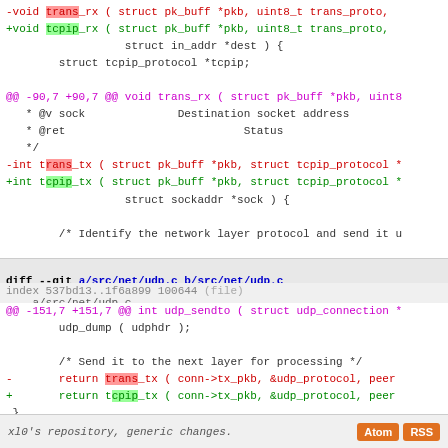Code diff showing trans_rx/tcpip_rx and trans_tx/tcpip_tx function renames, followed by diff --git a/src/net/udp.c b/src/net/udp.c changes with udp_sendto function modifications
diff --git a/src/net/udp.c b/src/net/udp.c
index 537bd13..1f6a899 100644 (file)
--- a/src/net/udp.c
+++ b/src/net/udp.c
@@ -151,7 +151,7 @@ int udp_sendto ( struct udp_connection *
        udp_dump ( udphdr );

        /* Send it to the next layer for processing */
-       return trans_tx ( conn->tx_pkb, &udp_protocol, peer
+       return tcpip_tx ( conn->tx_pkb, &udp_protocol, peer
 }
xl0's repository, generic changes.  Atom  RSS